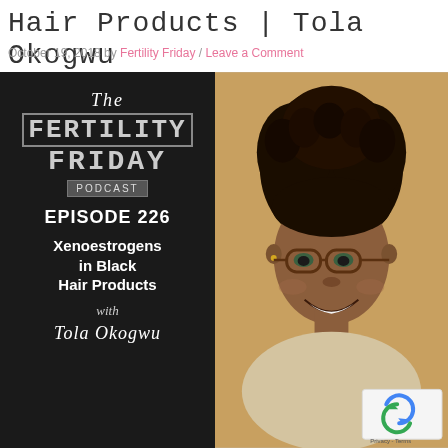Hair Products | Tola Okogwu
October 19, 2018 by Fertility Friday / Leave a Comment
[Figure (illustration): Podcast cover art for The Fertility Friday Podcast Episode 226: Xenoestrogens in Black Hair Products with Tola Okogwu, showing black background with text on left and photo of smiling woman with natural hair and glasses on right. reCAPTCHA badge in bottom right corner.]